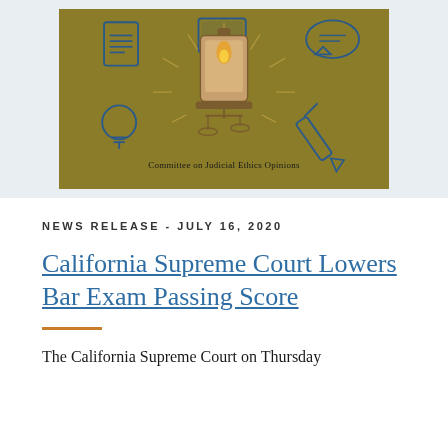[Figure (illustration): Committee on Judicial Ethics Opinions graphic with olive/gold background, featuring icons of a document, computer monitor, speech bubble, light bulb, scales of justice lantern, and pencil arranged around a central scales image. Text reads 'Committee on Judicial Ethics Opinions'.]
NEWS RELEASE - JULY 16, 2020
California Supreme Court Lowers Bar Exam Passing Score
The California Supreme Court on Thursday